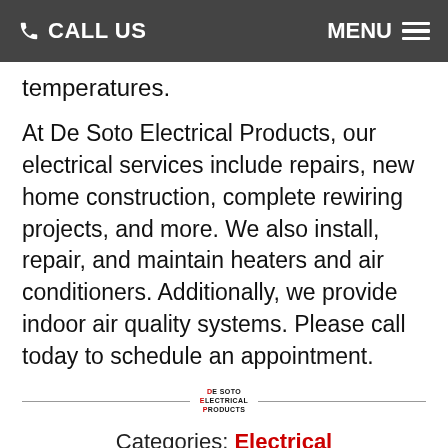CALL US  MENU
temperatures.
At De Soto Electrical Products, our electrical services include repairs, new home construction, complete rewiring projects, and more. We also install, repair, and maintain heaters and air conditioners. Additionally, we provide indoor air quality systems. Please call today to schedule an appointment.
[Figure (logo): De Soto Electrical Products logo with red and black text in stacked format]
Categories: Electrical